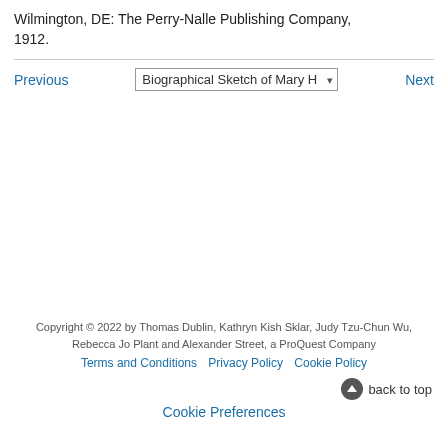Wilmington, DE: The Perry-Nalle Publishing Company, 1912.
Previous | Biographical Sketch of Mary H▾ | Next
Copyright © 2022 by Thomas Dublin, Kathryn Kish Sklar, Judy Tzu-Chun Wu, Rebecca Jo Plant and Alexander Street, a ProQuest Company
Terms and Conditions   Privacy Policy   Cookie Policy
back to top
Cookie Preferences